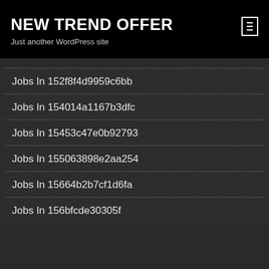NEW TREND OFFER
Just another WordPress site
Jobs In 152f8f4d9959c6bb
Jobs In 154014a1167b3dfc
Jobs In 15453c47e0b92793
Jobs In 155063898e2aa254
Jobs In 15664b2b7cf1d6fa
Jobs In 156bfcd...